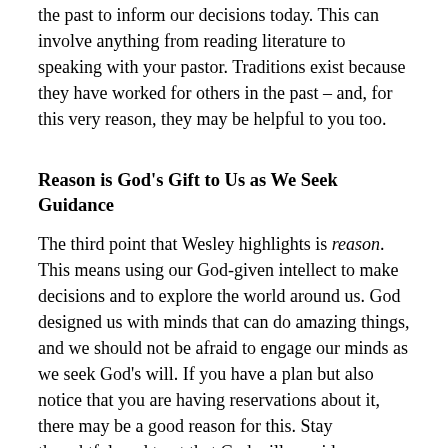the past to inform our decisions today. This can involve anything from reading literature to speaking with your pastor. Traditions exist because they have worked for others in the past – and, for this very reason, they may be helpful to you too.
Reason is God's Gift to Us as We Seek Guidance
The third point that Wesley highlights is reason. This means using our God-given intellect to make decisions and to explore the world around us. God designed us with minds that can do amazing things, and we should not be afraid to engage our minds as we seek God's will. If you have a plan but also notice that you are having reservations about it, there may be a good reason for this. Stay thoughtful, and trust that God will provide you with peace and insight as you consider what to do next.
We Draw on Our Own Experience as We Seek to Know God's Will